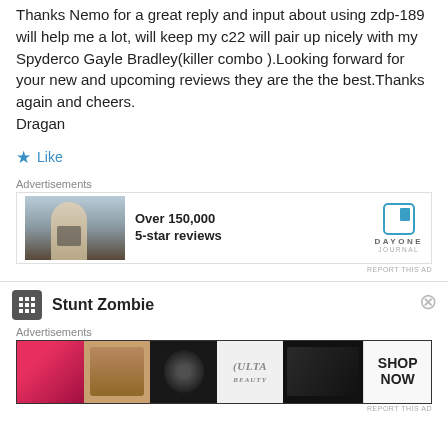Thanks Nemo for a great reply and input about using zdp-189 will help me a lot, will keep my c22 will pair up nicely with my Spyderco Gayle Bradley(killer combo ).Looking forward for your new and upcoming reviews they are the the best.Thanks again and cheers.
Dragan
★ Like
Advertisements
[Figure (photo): Ad banner: photo of person photographing landscape, Over 150,000 5-star reviews, Day One Journal logo]
REPORT THIS AD
Stunt Zombie
Advertisements
[Figure (photo): Ulta beauty ad banner with makeup imagery and SHOP NOW call to action]
REPORT THIS AD